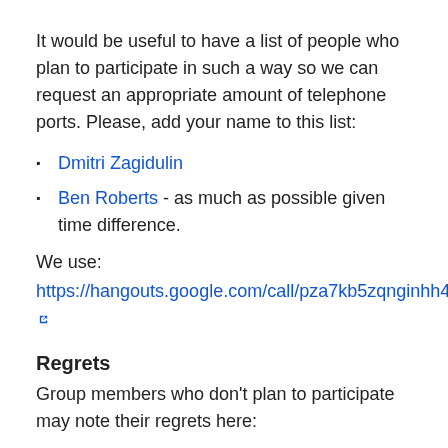It would be useful to have a list of people who plan to participate in such a way so we can request an appropriate amount of telephone ports. Please, add your name to this list:
Dmitri Zagidulin
Ben Roberts - as much as possible given time difference.
We use:
https://hangouts.google.com/call/pza7kb5zqnginhh43223mtdjiae
Regrets
Group members who don't plan to participate may note their regrets here: